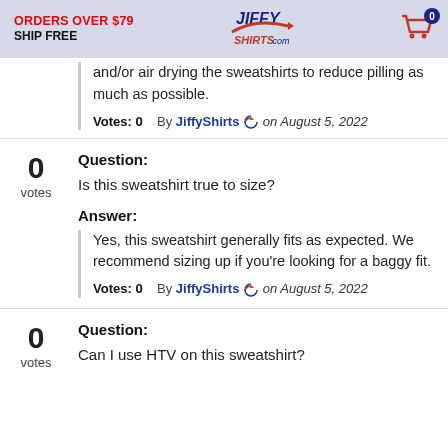ORDERS OVER $79 SHIP FREE | JiffyShirts.com
and/or air drying the sweatshirts to reduce pilling as much as possible.
Votes: 0   By JiffyShirts on August 5, 2022
0 votes
Question: Is this sweatshirt true to size?
Answer: Yes, this sweatshirt generally fits as expected. We recommend sizing up if you're looking for a baggy fit.
Votes: 0   By JiffyShirts on August 5, 2022
0 votes
Question: Can I use HTV on this sweatshirt?